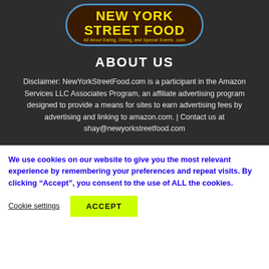[Figure (logo): New York Street Food logo — brown oval with blue border, yellow bold text 'NEW YORK STREET FOOD', subtitle 'All About Eating, Dining, and Special Events', and '.com' in yellow]
ABOUT US
Disclaimer: NewYorkStreetFood.com is a participant in the Amazon Services LLC Associates Program, an affiliate advertising program designed to provide a means for sites to earn advertising fees by advertising and linking to amazon.com. | Contact us at shay@newyorkstreetfood.com
We use cookies on our website to give you the most relevant experience by remembering your preferences and repeat visits. By clicking “Accept”, you consent to the use of ALL the cookies.
Cookie settings  ACCEPT